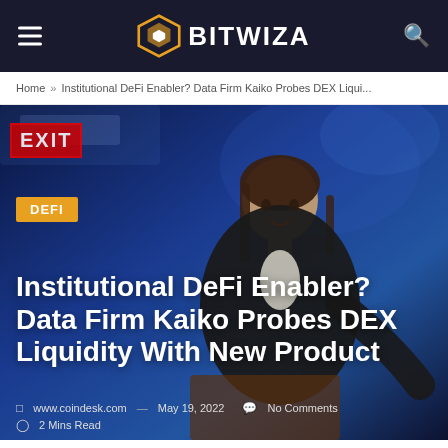BITWIZA
Home » Institutional DeFi Enabler? Data Firm Kaiko Probes DEX Liqui...
[Figure (photo): Woman speaking at a podium against a dark blue background, with a red EXIT sign visible on the left. A DEFI badge overlay is visible in the lower left of the image.]
Institutional DeFi Enabler? Data Firm Kaiko Probes DEX Liquidity With New Product
www.coindesk.com — May 19, 2022   No Comments   2 Mins Read